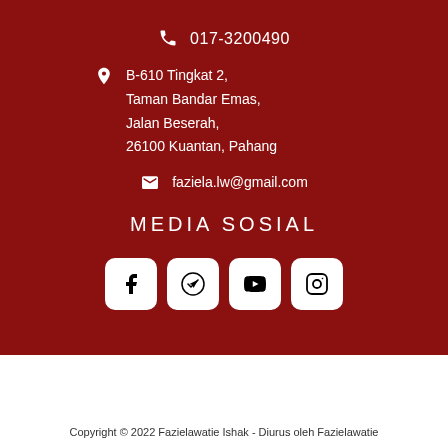017-3200490
B-610 Tingkat 2, Taman Bandar Emas, Jalan Beserah, 26100 Kuantan, Pahang
faziela.lw@gmail.com
MEDIA SOSIAL
[Figure (infographic): Four social media icon buttons (Facebook, Telegram, YouTube, Instagram) in white rounded square boxes]
Copyright © 2022 Fazielawatie Ishak - Diurus oleh Fazielawatie